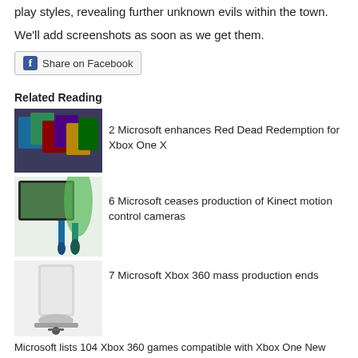play styles, revealing further unknown evils within the town.
We'll add screenshots as soon as we get them.
[Figure (screenshot): Facebook Share on Facebook button]
Related Reading
[Figure (photo): Video game cases thumbnail]
2 Microsoft enhances Red Dead Redemption for Xbox One X
[Figure (photo): Kinect motion control camera thumbnail]
6 Microsoft ceases production of Kinect motion control cameras
[Figure (photo): Xbox 360 console thumbnail]
7 Microsoft Xbox 360 mass production ends
Microsoft lists 104 Xbox 360 games compatible with Xbox One New Xbox One Experience, Xbox 360 compatibility arrives 12th Nov Trio of Konami Arespear eSports gaming PCs up for pre-order Konami eFootball PES 2020 tournament streams Sunday Konami announces the PC Engine Core Grafx mini
Login | Register